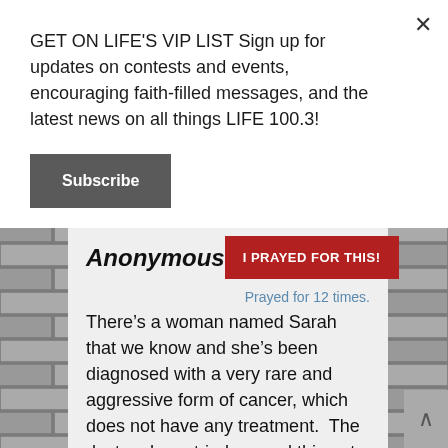GET ON LIFE'S VIP LIST Sign up for updates on contests and events, encouraging faith-filled messages, and the latest news on all things LIFE 100.3!
Subscribe
[Figure (screenshot): Brick wall background behind prayer card]
Anonymous
I PRAYED FOR THIS!
Prayed for 12 times.
There’s a woman named Sarah that we know and she’s been diagnosed with a very rare and aggressive form of cancer, which does not have any treatment. The doctors have tried several things to prolong her life, but it looks like if God doesn’t heal her, she won’t have much time